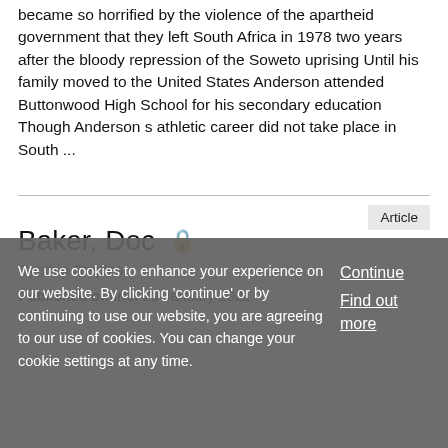became so horrified by the violence of the apartheid government that they left South Africa in 1978 two years after the bloody repression of the Soweto uprising Until his family moved to the United States Anderson attended Buttonwood High School for his secondary education Though Anderson s athletic career did not take place in South ...
Article
Baker, Doc 🔒
Cynthia Staples
Published online: 29 January 2021
We use cookies to enhance your experience on our website. By clicking 'continue' or by continuing to use our website, you are agreeing to our use of cookies. You can change your cookie settings at any time.
Continue
Find out more